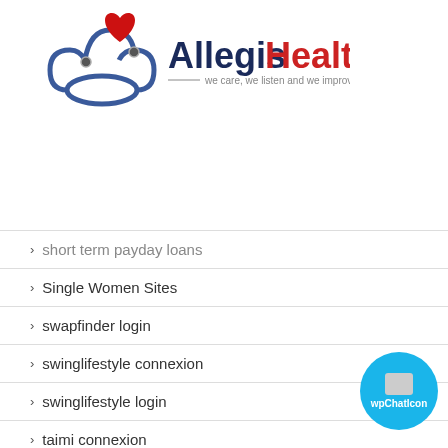[Figure (logo): Allegis HealthCare logo with red heart and stethoscope. Text: 'Allegis' in dark blue bold, 'HealthCare' in red, tagline: 'we care, we listen and we improve your health']
short term payday loans
Single Women Sites
swapfinder login
swinglifestyle connexion
swinglifestyle login
taimi connexion
tempe escort